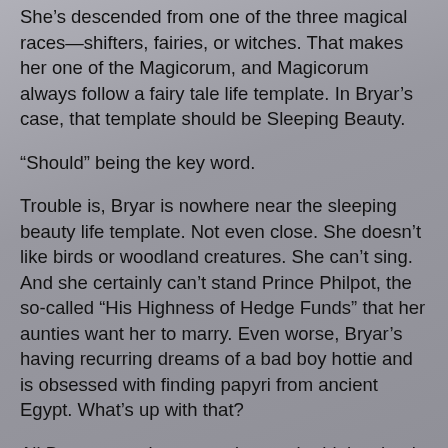She’s descended from one of the three magical races—shifters, fairies, or witches. That makes her one of the Magicorum, and Magicorum always follow a fairy tale life template. In Bryar’s case, that template should be Sleeping Beauty.
“Should” being the key word.
Trouble is, Bryar is nowhere near the sleeping beauty life template. Not even close. She doesn’t like birds or woodland creatures. She can’t sing. And she certainly can’t stand Prince Philpot, the so-called “His Highness of Hedge Funds” that her aunties want her to marry. Even worse, Bryar’s having recurring dreams of a bad boy hottie and is obsessed with finding papyri from ancient Egypt. What’s up with that?
All Bryar wants is to attend a regular high school with normal humans and forget all about shifters, fairies, witches, and the curse that Colonel Mallory the Magnificent placed on her. And she